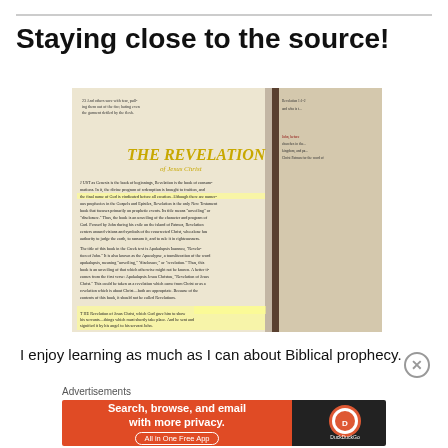Staying close to the source!
[Figure (photo): Open Bible showing 'THE REVELATION of Jesus Christ' heading with highlighted text passages]
I enjoy learning as much as I can about Biblical prophecy.
Advertisements
[Figure (screenshot): DuckDuckGo advertisement banner: 'Search, browse, and email with more privacy. All in One Free App' with DuckDuckGo logo on dark background]